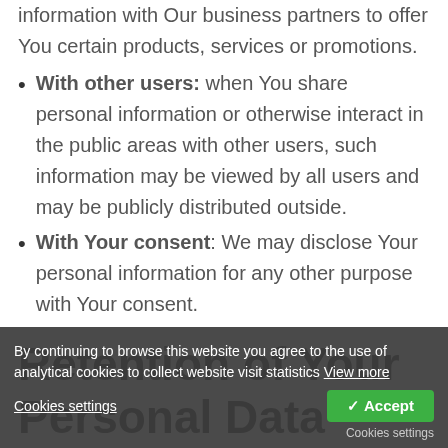information with Our business partners to offer You certain products, services or promotions.
With other users: when You share personal information or otherwise interact in the public areas with other users, such information may be viewed by all users and may be publicly distributed outside.
With Your consent: We may disclose Your personal information for any other purpose with Your consent.
Retention of Your Personal Data
The Company will retain Your Personal Data only for as long as is necessary for the purposes set out in this Privacy Policy. We will retain and use Your Personal Data to the extent necessary to
By continuing to browse this website you agree to the use of analytical cookies to collect website visit statistics View more
Cookies settings   ✓ Accept
Cookies settings